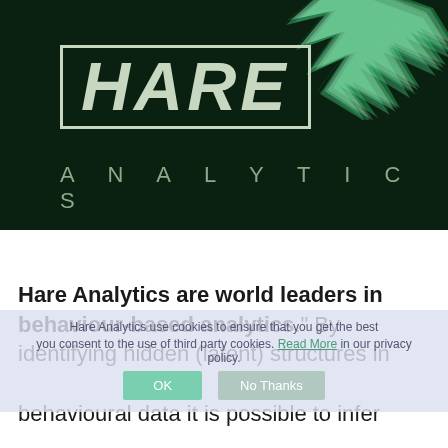[Figure (logo): Hare Analytics logo on dark green background with decorative green crystal/geometric fragment in top right corner. HARE in large italic bold text inside a rectangle border, ANALYTICS in spaced uppercase letters below.]
Hare Analytics are world leaders in behaviour-based analytics. By identifying hidden (latent) structures in behavioural data it is possible to infer
Hare Analytics use cookies to ensure that you get the best you consent to the use of third party cookies. Read More in our privacy policy.
OK   No Thanks